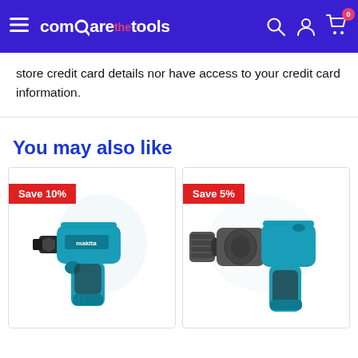comparethetools — navigation bar with hamburger menu, logo, search, account, and cart (0 items)
store credit card details nor have access to your credit card information.
You may also like
[Figure (photo): Makita cordless impact driver in teal/blue color with 'Save 10%' red badge]
[Figure (photo): Makita cordless drill/driver in teal/blue and grey color with 'Save 5%' red badge]